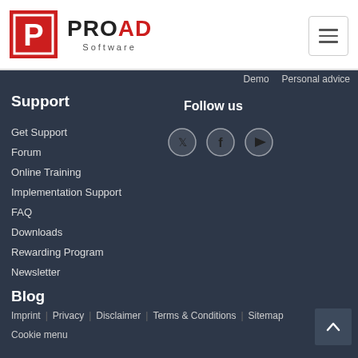[Figure (logo): ProAD Software logo with red P icon and hamburger menu button]
Demo   Personal advice
Support
Follow us
Get Support
Forum
Online Training
Implementation Support
FAQ
Downloads
Rewarding Program
Newsletter
[Figure (infographic): Social media icons: Twitter, Facebook, YouTube circles]
Blog
Imprint  Privacy  Disclaimer  Terms & Conditions  Sitemap
Cookie menu